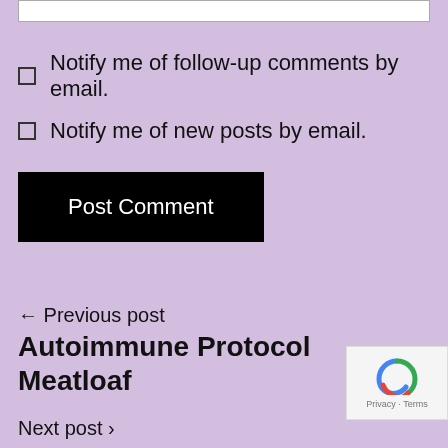Notify me of follow-up comments by email.
Notify me of new posts by email.
Post Comment
← Previous post
Autoimmune Protocol Meatloaf
Next post →